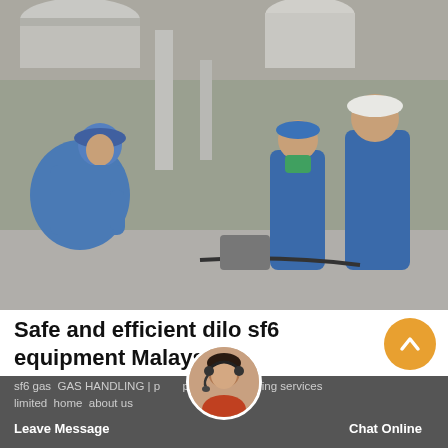[Figure (photo): Three workers in blue coveralls and hard hats working in an industrial facility with large pipes and equipment. One worker kneels on the left with a blue helmet, two stand on the right.]
Safe and efficient dilo sf6 equipment Malaysia
sf6 gas GAS HANDLING | power engineering services limited  home  about us